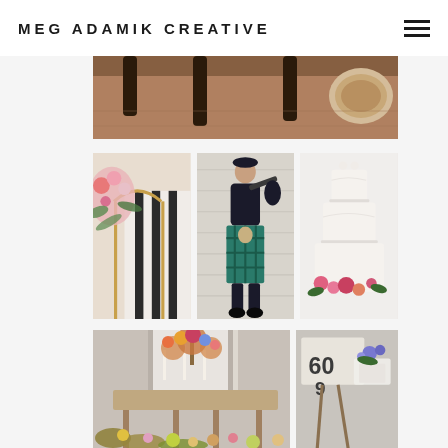MEG ADAMIK CREATIVE
[Figure (photo): Partial top view of a rustic interior scene — dark wooden furniture legs and a woven/textured round object on a warm brown floor]
[Figure (photo): Wedding floral arch/arrangement with pink flowers and greenery against a black-and-white striped curtain backdrop]
[Figure (photo): Man in full Scottish Highland dress (black jacket, tartan kilt) playing bagpipes against a white brick wall]
[Figure (photo): White tiered wedding cake decorated with pink and red flowers at the base]
[Figure (photo): Wedding reception sweetheart table decorated with tall candles and colorful floral arrangements, flowers covering the floor in front]
[Figure (photo): Close-up of table setting details with what appears to be a number/sign, folded linens, and flowers]